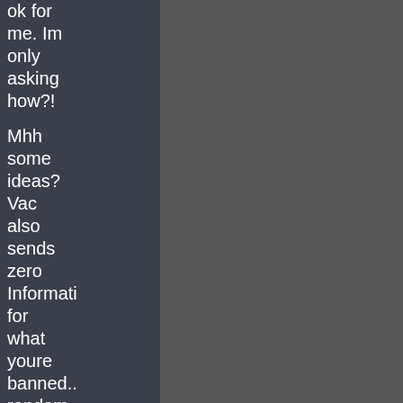ok for me. Im only asking how?!
Mhh some ideas? Vac also sends zero Informati for what youre banned.. random Reportin
And again the ban is totally ok for me. Dont start